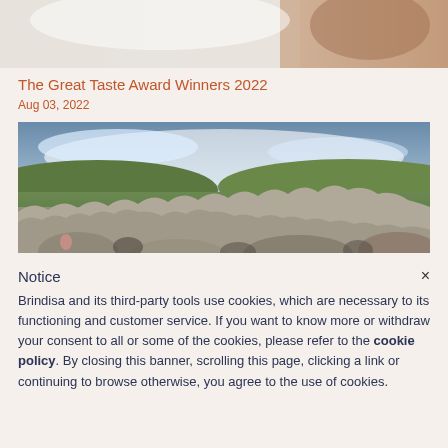[Figure (photo): Partial top photo showing white and brown background, likely a food or product image cropped at top of page]
The Great Taste Award Winners 2022
Aug 03, 2022
[Figure (photo): Large flock of sheep filling the frame, photographed from ground level with green hills and dramatic cloudy sky in background]
Notice
Brindisa and its third-party tools use cookies, which are necessary to its functioning and customer service. If you want to know more or withdraw your consent to all or some of the cookies, please refer to the cookie policy. By closing this banner, scrolling this page, clicking a link or continuing to browse otherwise, you agree to the use of cookies.